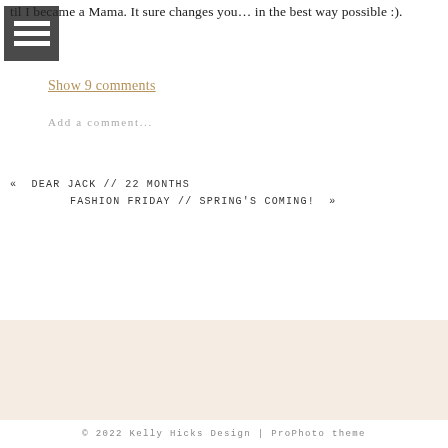til I became a Mama. It sure changes you… in the best way possible :).
Show 9 comments
Add a comment...
« DEAR JACK // 22 MONTHS
FASHION FRIDAY // SPRING'S COMING! »
© 2022 Kelly Hicks Design | ProPhoto theme